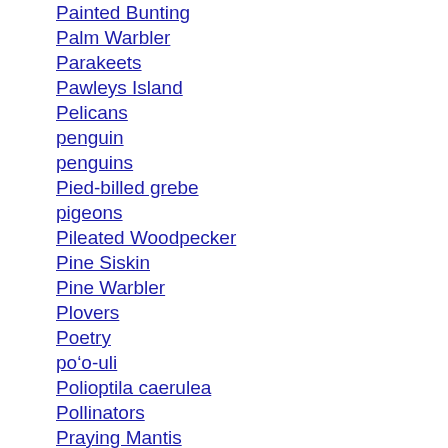Painted Bunting
Palm Warbler
Parakeets
Pawleys Island
Pelicans
penguin
penguins
Pied-billed grebe
pigeons
Pileated Woodpecker
Pine Siskin
Pine Warbler
Plovers
Poetry
po‘o-uli
Polioptila caerulea
Pollinators
Praying Mantis
Project FeederWatch